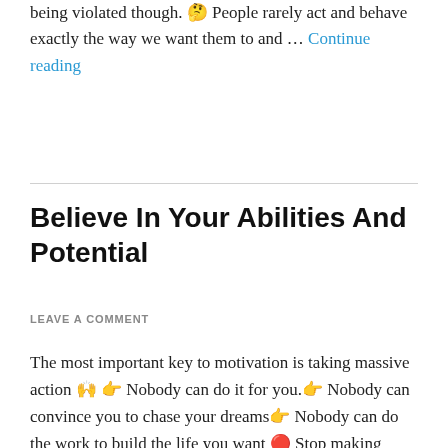being violated though. 🤔 People rarely act and behave exactly the way we want them to and … Continue reading
Believe In Your Abilities And Potential
LEAVE A COMMENT
The most important key to motivation is taking massive action 🙌 👉 Nobody can do it for you.👉 Nobody can convince you to chase your dreams👉 Nobody can do the work to build the life you want 🔴 Stop making excuses🔴 Stop blaming others🔴 Stop comparing your